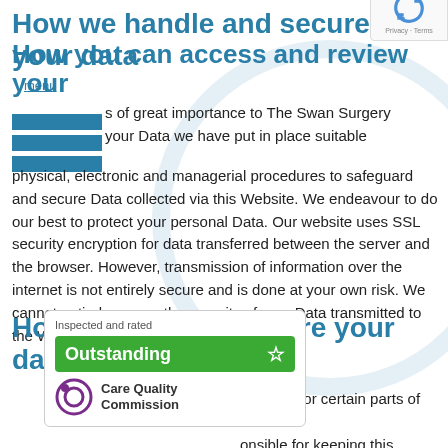How we handle and secure your data
menu
s of great importance to The Swan Surgery your Data we have put in place suitable physical, electronic and managerial procedures to safeguard and secure Data collected via this Website. We endeavour to do our best to protect your personal Data. Our website uses SSL security encryption for data transferred between the server and the browser. However, transmission of information over the internet is not entirely secure and is done at your own risk. We cannot entirely ensure the security of your Data transmitted to the Website.
How you should secure your data
[Figure (logo): CQC Inspected and rated Outstanding badge with Care Quality Commission logo]
required for certain parts of the onsible for keeping this password
How you can access and review your